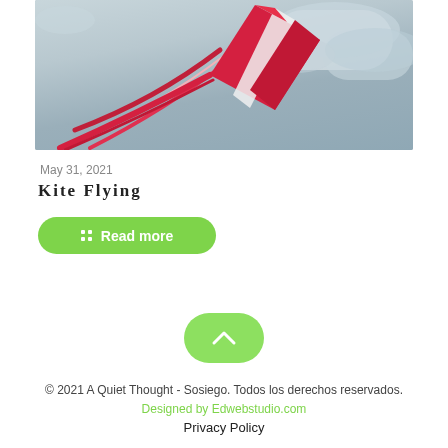[Figure (photo): A red kite with long trailing tails flying against a cloudy grey-blue sky]
May 31, 2021
Kite Flying
Read more
[Figure (other): Scroll to top button - green rounded rectangle with upward chevron arrow]
© 2021 A Quiet Thought - Sosiego. Todos los derechos reservados. Designed by Edwebstudio.com
Privacy Policy